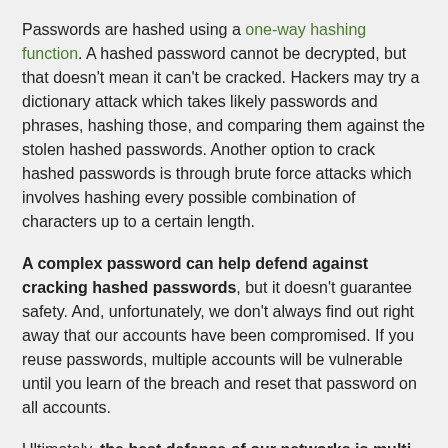Passwords are hashed using a one-way hashing function. A hashed password cannot be decrypted, but that doesn't mean it can't be cracked. Hackers may try a dictionary attack which takes likely passwords and phrases, hashing those, and comparing them against the stolen hashed passwords. Another option to crack hashed passwords is through brute force attacks which involves hashing every possible combination of characters up to a certain length.
A complex password can help defend against cracking hashed passwords, but it doesn't guarantee safety. And, unfortunately, we don't always find out right away that our accounts have been compromised. If you reuse passwords, multiple accounts will be vulnerable until you learn of the breach and reset that password on all accounts.
Ultimately, the best defense of our networks is multi-pronged. Here are some suggestions in terms of user account management, and specifically, passwords. First,